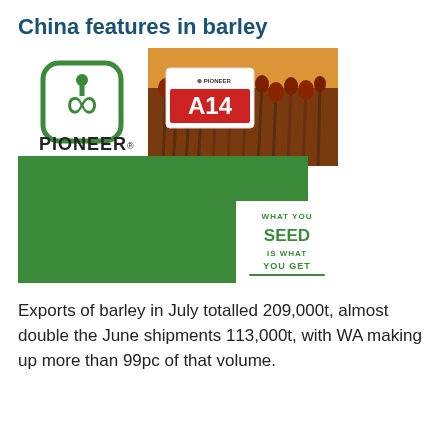China features in barley
[Figure (photo): Pioneer Brand Seeds advertisement showing Pioneer logo on left with green infinity symbol, and a field of sorghum plants on right with an A14 Pioneer seed sign. Bottom portion features a green rectangle with 'WHAT YOU SEED IS WHAT YOU GET' tagline.]
Exports of barley in July totalled 209,000t, almost double the June shipments 113,000t, with WA making up more than 99pc of that volume.